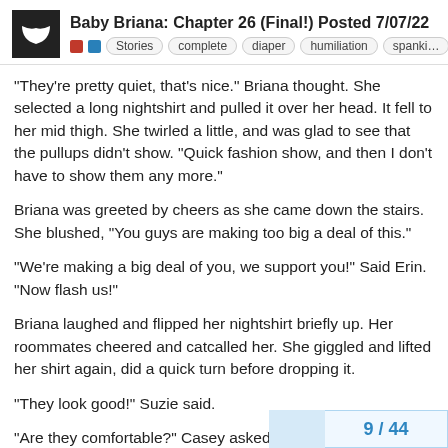Baby Briana: Chapter 26 (Final!) Posted 7/07/22
“They’re pretty quiet, that’s nice.” Briana thought. She selected a long nightshirt and pulled it over her head. It fell to her mid thigh. She twirled a little, and was glad to see that the pullups didn’t show. “Quick fashion show, and then I don’t have to show them any more.”
Briana was greeted by cheers as she came down the stairs. She blushed, “You guys are making too big a deal of this.”
“We’re making a big deal of you, we support you!” Said Erin. “Now flash us!”
Briana laughed and flipped her nightshirt briefly up. Her roommates cheered and catcalled her. She giggled and lifted her shirt again, did a quick turn before dropping it.
“They look good!” Suzie said.
“Are they comfortable?” Casey asked.
9 / 44